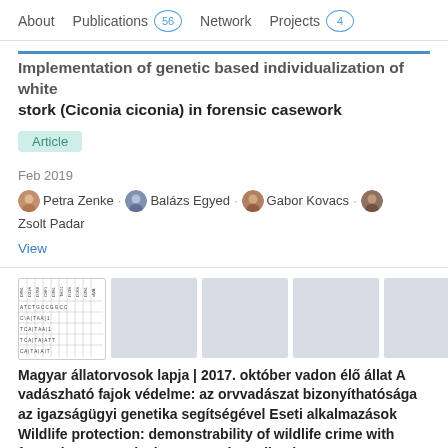About   Publications 56   Network   Projects 4
Implementation of genetic-based individualization of white stork (Ciconia ciconia) in forensic casework
Article
Feb 2019
Petra Zenke · Balázs Egyed · Gabor Kovacs · Zsolt Padar
View
[Figure (table-as-image): Thumbnail images of publication figures, first showing a DNA sequence/gel table, rest are light gray placeholder thumbnails]
Magyar állatorvosok lapja | 2017. október vadon élő állat A vadászható fajok védelme: az orvvadászat bizonyíthatósága az igazságügyi genetika segítségével Eseti alkalmazások Wildlife protection: demonstrability of wildlife crime with forensic DNA analysis Casework applications